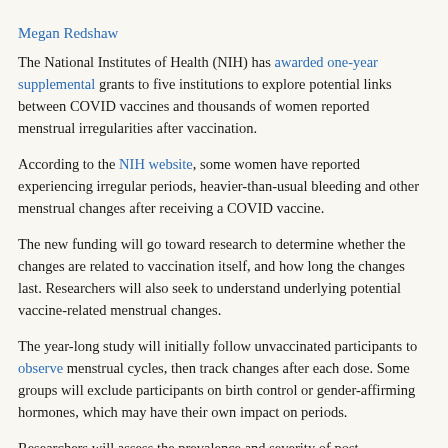Megan Redshaw
The National Institutes of Health (NIH) has awarded one-year supplemental grants to five institutions to explore potential links between COVID vaccines and thousands of women reported menstrual irregularities after vaccination.
According to the NIH website, some women have reported experiencing irregular periods, heavier-than-usual bleeding and other menstrual changes after receiving a COVID vaccine.
The new funding will go toward research to determine whether the changes are related to vaccination itself, and how long the changes last. Researchers will also seek to understand underlying potential vaccine-related menstrual changes.
The year-long study will initially follow unvaccinated participants to observe menstrual cycles, then track changes after each dose. Some groups will exclude participants on birth control or gender-affirming hormones, which may have their own impact on periods.
Researchers will assess the prevalence and severity of post-vaccination changes in menstrual characteristics, including flow, cycle length, pain and other symptoms. These studies will also control for other factors that can affect menstruation — such as stress, medications and other variables — to determine whether the changes are attributable to vaccination.